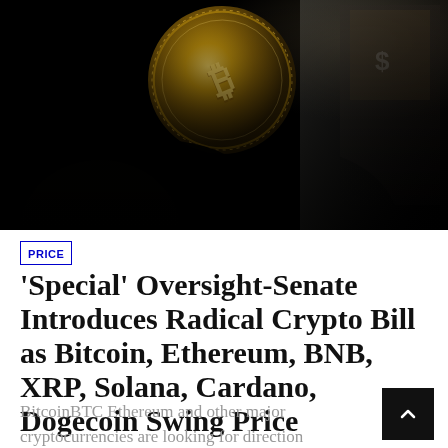[Figure (photo): Dark photograph showing a gold Bitcoin coin held up against a black background with silhouetted figures below]
PRICE
'Special' Oversight-Senate Introduces Radical Crypto Bill as Bitcoin, Ethereum, BNB, XRP, Solana, Cardano, Dogecoin Swing Price
BitcoinBTC Ethereum and other major cryptocurrencies are looking for direction